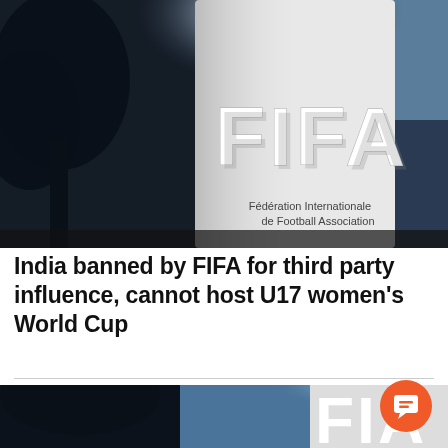[Figure (photo): FIFA headquarters sign showing the FIFA logo in large white 3D letters and text reading 'Fédération Internationale de Football Association' against a dark background with trees]
India banned by FIFA for third party influence, cannot host U17 women's World Cup
[Figure (photo): Second cropped view of FIFA headquarters sign, partially visible, similar to the top image, with an orange chat/comment button overlay in the bottom right]